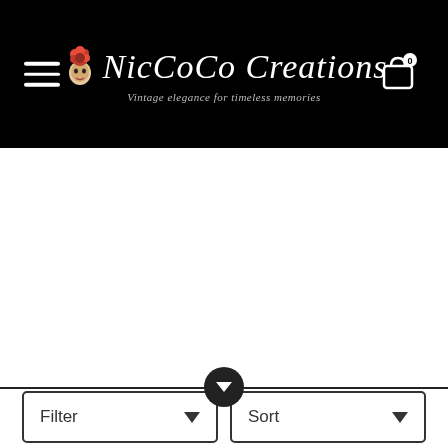NicCoCo Creations — Vintage elegance for timeless memories
[Figure (screenshot): Large white blank content area below header]
Filter
Sort